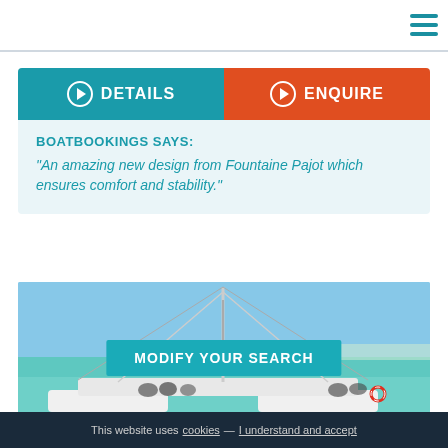DETAILS
ENQUIRE
BOATBOOKINGS SAYS:
"An amazing new design from Fountaine Pajot which ensures comfort and stability."
[Figure (photo): A catamaran sailboat on turquoise water, with mast and boom visible from deck level, people on board]
MODIFY YOUR SEARCH
This website uses cookies — I understand and accept